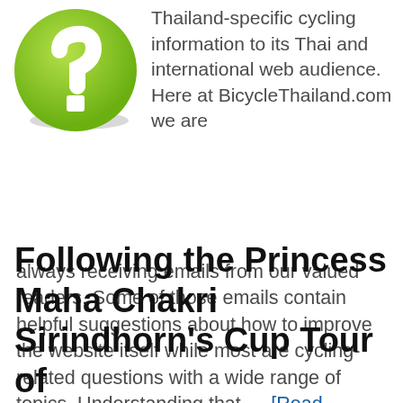[Figure (illustration): Green circle with white question mark icon]
Thailand-specific cycling information to its Thai and international web audience. Here at BicycleThailand.com we are always receiving emails from our valued readers. Some of those emails contain helpful suggestions about how to improve the website itself while most are cycling-related questions with a wide range of topics. Understanding that … [Read more...]
Following the Princess Maha Chakri Sirindhorn's Cup Tour of